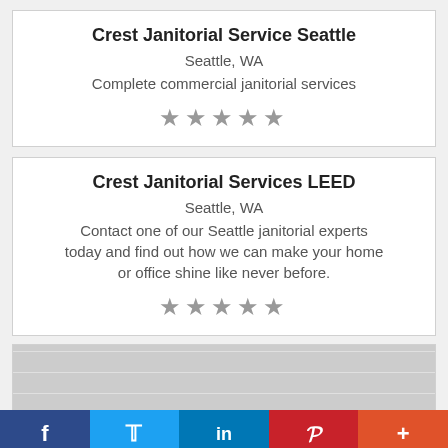Crest Janitorial Service Seattle
Seattle, WA
Complete commercial janitorial services
★★★★★
Crest Janitorial Services LEED
Seattle, WA
Contact one of our Seattle janitorial experts today and find out how we can make your home or office shine like never before.
★★★★★
[Figure (photo): Partially visible image placeholder at the bottom of the page]
f  Twitter  in  Pinterest  +